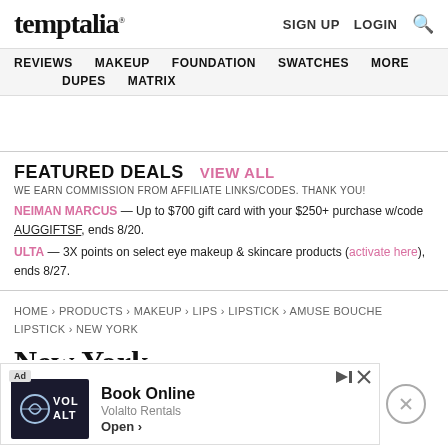temptalia® SIGN UP LOGIN [search]
REVIEWS MAKEUP FOUNDATION SWATCHES MORE DUPES MATRIX
FEATURED DEALS VIEW ALL
WE EARN COMMISSION FROM AFFILIATE LINKS/CODES. THANK YOU!
NEIMAN MARCUS — Up to $700 gift card with your $250+ purchase w/code AUGGIFTSF, ends 8/20.
ULTA — 3X points on select eye makeup & skincare products (activate here), ends 8/27.
HOME › PRODUCTS › MAKEUP › LIPS › LIPSTICK › AMUSE BOUCHE LIPSTICK › NEW YORK
New York
BITE B...
[Figure (screenshot): Advertisement overlay at bottom of page for Volalto Rentals with Book Online call to action, shown with Ad badge, play/skip icons, and close button]